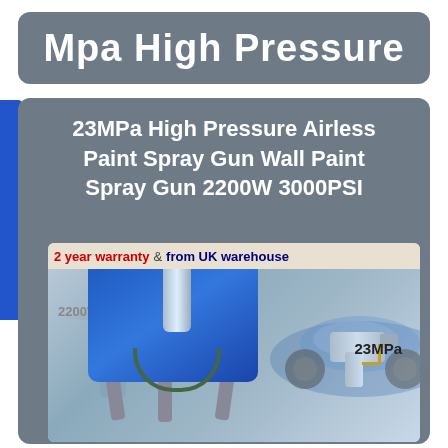Mpa High Pressure
23MPa High Pressure Airless Paint Spray Gun Wall Paint Spray Gun 2200W 3000PSI
[Figure (photo): Product photo of a blue 23MPa 2200W airless paint spray gun on a tripod stand, with a small spray gun accessory shown on the right. Banner text reads '2 year warranty & from UK warehouse'. Labels on image: '2200W' and '23MPa'.]